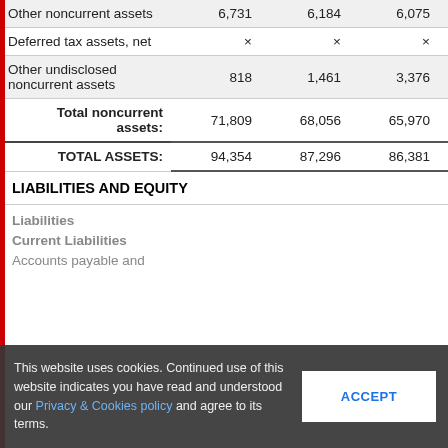|  | Col1 | Col2 | Col3 | Col4 |
| --- | --- | --- | --- | --- |
| Other noncurrent assets | 6,731 | 6,184 | 6,075 | 4,139 |
| Deferred tax assets, net | × | × | × | 2,667 |
| Other undisclosed noncurrent assets | 818 | 1,461 | 3,376 | 973 |
| Total noncurrent assets: | 71,809 | 68,056 | 65,970 | 52,582 |
| TOTAL ASSETS: | 94,354 | 87,296 | 86,381 | 83,216 |
LIABILITIES AND EQUITY
Liabilities
Current Liabilities
Accounts payable and
This website uses cookies. Continued use of this website indicates you have read and understood our Privacy & Cookies policy and agree to its terms.
ACCEPT